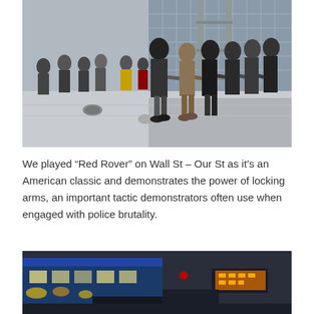[Figure (photo): People standing in a line on a city street, arms linked, in front of a large glass building with scaffolding. Urban demonstration scene on Wall Street.]
We played “Red Rover” on Wall St – Our St as it’s an American classic and demonstrates the power of locking arms, an important tactic demonstrators often use when engaged with police brutality.
[Figure (photo): Blurry nighttime street scene with city buses and traffic lights visible, city street at night with lights and signs.]